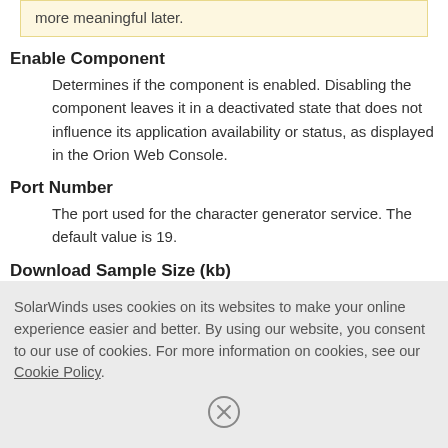more meaningful later.
Enable Component
Determines if the component is enabled. Disabling the component leaves it in a deactivated state that does not influence its application availability or status, as displayed in the Orion Web Console.
Port Number
The port used for the character generator service. The default value is 19.
Download Sample Size (kb)
SolarWinds uses cookies on its websites to make your online experience easier and better. By using our website, you consent to our use of cookies. For more information on cookies, see our Cookie Policy.